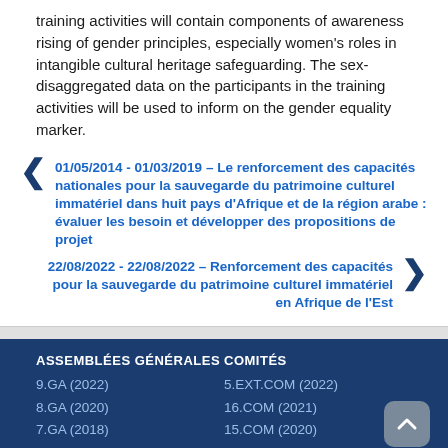training activities will contain components of awareness rising of gender principles, especially women's roles in intangible cultural heritage safeguarding. The sex-disaggregated data on the participants in the training activities will be used to inform on the gender equality marker.
01/05/2014 - 01/03/2019 – Le renforcement des capacités nationales pour la sauvegarde du patrimoine culturel immatériel dans huit pays d'Afrique et de la région arabe : évaluer les besoin et développer des propositions de projet
22/08/2022 - 22/08/2022 – Renforcement des capacités pour la sauvegarde du patrimoine culturel immatériel en Afrique de l'Est
ASSEMBLÉES GÉNÉRALES
9.GA (2022)
8.GA (2020)
7.GA (2018)
6.GA (2016)
5.GA (2014)

COMITÉS
5.EXT.COM (2022)
16.COM (2021)
15.COM (2020)
14.COM (2019)
13.COM (2018)